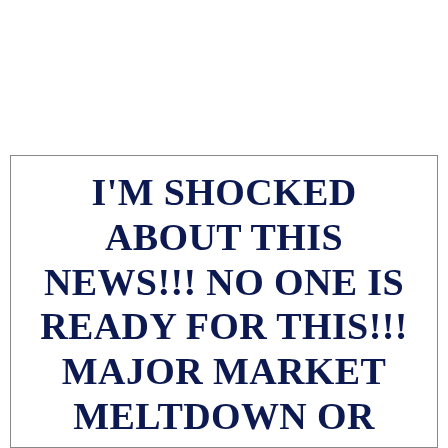I'M SHOCKED ABOUT THIS NEWS!!! NO ONE IS READY FOR THIS!!! MAJOR MARKET MELTDOWN OR